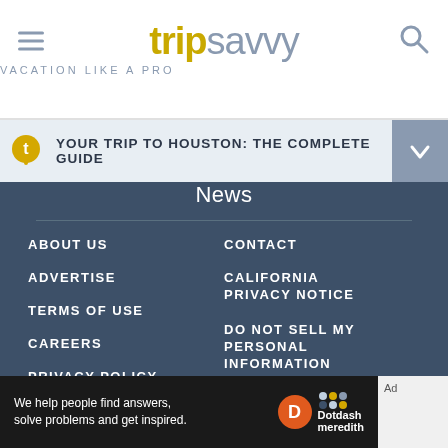trip savvy — VACATION LIKE A PRO
YOUR TRIP TO HOUSTON: THE COMPLETE GUIDE
News
ABOUT US
ADVERTISE
TERMS OF USE
CAREERS
PRIVACY POLICY
COOKIE POLICY
CONTACT
CALIFORNIA PRIVACY NOTICE
DO NOT SELL MY PERSONAL INFORMATION
We help people find answers, solve problems and get inspired. Dotdash meredith